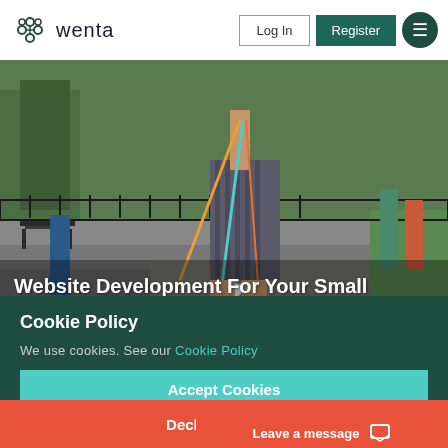wenta  Log In  Register
[Figure (photo): Person walking multiple dogs on leashes in a park setting with benches and green trees in background]
Website Development For Your Small Business / Niche
Cookie Policy
We use cookies. See our Cookie Policy
Accept Cookies
Decline Cookies
Leave a message